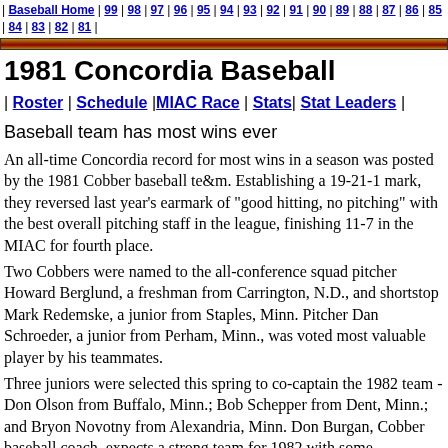| Baseball Home | 99 | 98 | 97 | 96 | 95 | 94 | 93 | 92 | 91 | 90 | 89 | 88 | 87 | 86 | 85 | 84 | 83 | 82 | 81 |
[Figure (other): Dark gold/maroon decorative horizontal bar]
1981 Concordia Baseball
| Roster | Schedule | MIAC Race | Stats | Stat Leaders |
Baseball team has most wins ever
An all-time Concordia record for most wins in a season was posted by the 1981 Cobber baseball te&m. Establishing a 19-21-1 mark, they reversed last year's earmark of "good hitting, no pitching" with the best overall pitching staff in the league, finishing 11-7 in the MIAC for fourth place.
Two Cobbers were named to the all-conference squad pitcher Howard Berglund, a freshman from Carrington, N.D., and shortstop Mark Redemske, a junior from Staples, Minn. Pitcher Dan Schroeder, a junior from Perham, Minn., was voted most valuable player by his teammates.
Three juniors were selected this spring to co-captain the 1982 team - Don Olson from Buffalo, Minn.; Bob Schepper from Dent, Minn.; and Bryon Novotny from Alexandria, Minn. Don Burgan, Cobber baseball coach, expects a strong team for 1982 with some